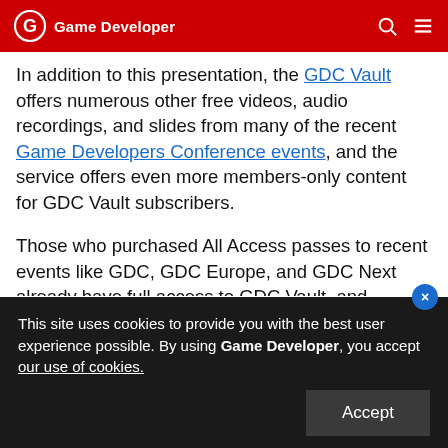Game Developer
In addition to this presentation, the GDC Vault offers numerous other free videos, audio recordings, and slides from many of the recent Game Developers Conference events, and the service offers even more members-only content for GDC Vault subscribers.
Those who purchased All Access passes to recent events like GDC, GDC Europe, and GDC Next already have full access to GDC Vault, and interested parties can apply for the individual subscription via a GDC Vault subscription page. Group subscriptions
This site uses cookies to provide you with the best user experience possible. By using Game Developer, you accept our use of cookies.